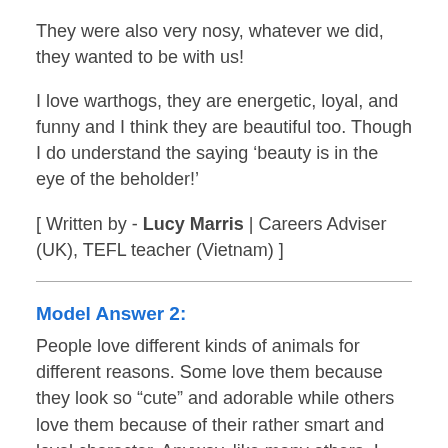They were also very nosy, whatever we did, they wanted to be with us!
I love warthogs, they are energetic, loyal, and funny and I think they are beautiful too. Though I do understand the saying ‘beauty is in the eye of the beholder!’
[ Written by - Lucy Marris | Careers Adviser (UK), TEFL teacher (Vietnam) ]
Model Answer 2:
People love different kinds of animals for different reasons. Some love them because they look so “cute” and adorable while others love them because of their rather smart and loyal character. Anyway, like many others, I also have my favourite animal, about which, I will describe very shortly.